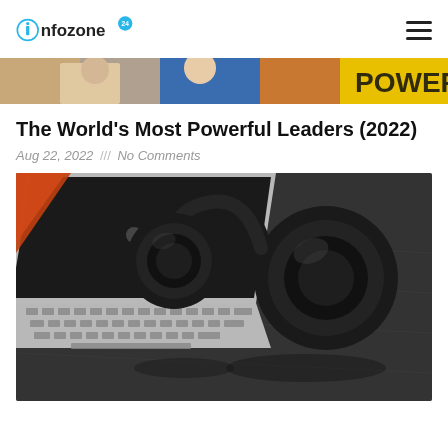infozone24 [logo]
[Figure (photo): Partial top banner image showing people, colorful background with yellow text partially visible on the right edge]
The World's Most Powerful Leaders (2022)
Aug 22, 2022 /// No Comments
[Figure (photo): A MacBook laptop with a black over-ear headphone resting on it, on a dark textured surface. Orange object visible in the upper-left corner.]